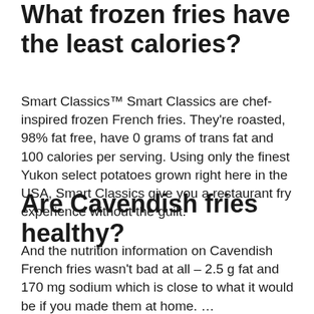What frozen fries have the least calories?
Smart Classics™ Smart Classics are chef-inspired frozen French fries. They're roasted, 98% fat free, have 0 grams of trans fat and 100 calories per serving. Using only the finest Yukon select potatoes grown right here in the USA, Smart Classics give you a restaurant fry experience without the guilt.
Are Cavendish fries healthy?
And the nutrition information on Cavendish French fries wasn't bad at all – 2.5 g fat and 170 mg sodium which is close to what it would be if you made them at home. … However, Cavendish French fries are a great